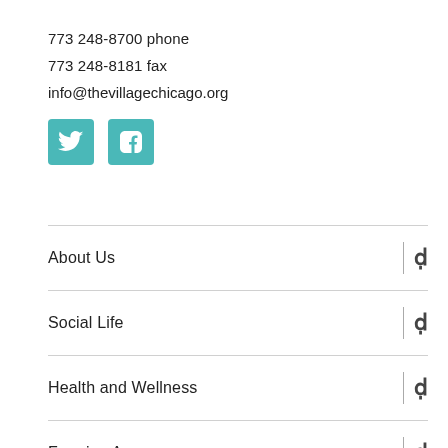773 248-8700 phone
773 248-8181 fax
info@thevillagechicago.org
[Figure (logo): Twitter and Facebook social media icons in teal/turquoise color]
About Us
Social Life
Health and Wellness
Framing Age
Join Us